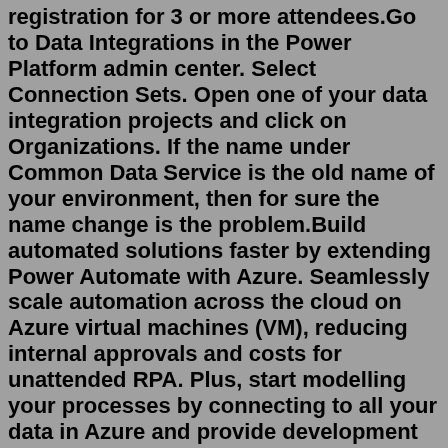registration for 3 or more attendees.Go to Data Integrations in the Power Platform admin center. Select Connection Sets. Open one of your data integration projects and click on Organizations. If the name under Common Data Service is the old name of your environment, then for sure the name change is the problem.Build automated solutions faster by extending Power Automate with Azure. Seamlessly scale automation across the cloud on Azure virtual machines (VM), reducing internal approvals and costs for unattended RPA. Plus, start modelling your processes by connecting to all your data in Azure and provide development teams options to enhance ...Power Only Load Board. Power Only Load Board Power Only Load Board It's easy to find power only loads on the DAT load board. Here's how. Power only trucking is a cost-effective way for brokers to get loads delivered, because they don't have to hire their own trucks and drivers. This means business is booming for owner-operators, and the […] DAT Power - DAT. About DAT. DAT operates the largest